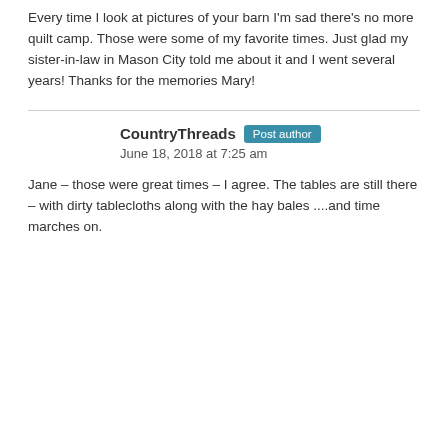Every time I look at pictures of your barn I'm sad there's no more quilt camp. Those were some of my favorite times. Just glad my sister-in-law in Mason City told me about it and I went several years! Thanks for the memories Mary!
CountryThreads Post author
June 18, 2018 at 7:25 am
Jane – those were great times – I agree. The tables are still there – with dirty tablecloths along with the hay bales ....and time marches on.